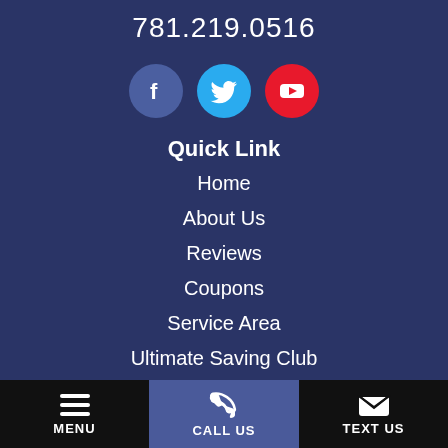781.219.0516
[Figure (illustration): Three social media icon circles: Facebook (dark blue), Twitter (light blue), YouTube (red)]
Quick Link
Home
About Us
Reviews
Coupons
Service Area
Ultimate Saving Club
MENU | CALL US | TEXT US